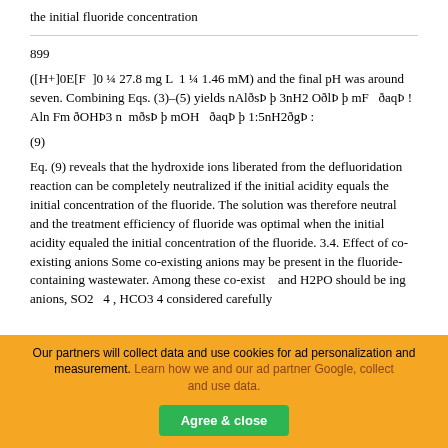the initial fluoride concentration
899
([H+]0E[F ]0 ¼ 27.8 mg L 1 ¼ 1.46 mM) and the final pH was around seven. Combining Eqs. (3)–(5) yields nAlðsÞ þ 3nH2 OðlÞ þ mF ðaqÞ ! Aln Fm ðOHÞ3 n mðsÞ þ mOH ðaqÞ þ 1:5nH2ðgÞ :
Eq. (9) reveals that the hydroxide ions liberated from the defluoridation reaction can be completely neutralized if the initial acidity equals the initial concentration of the fluoride. The solution was therefore neutral and the treatment efficiency of fluoride was optimal when the initial acidity equaled the initial concentration of the fluoride. 3.4. Effect of co-existing anions Some co-existing anions may be present in the fluoride-containing wastewater. Among these co-exist and H2PO should be ing anions, SO2 4 , HCO3 4 considered carefully
Our partners will collect data and use cookies for ad personalization and measurement. Learn how we and our ad partner Google, collect and use data.